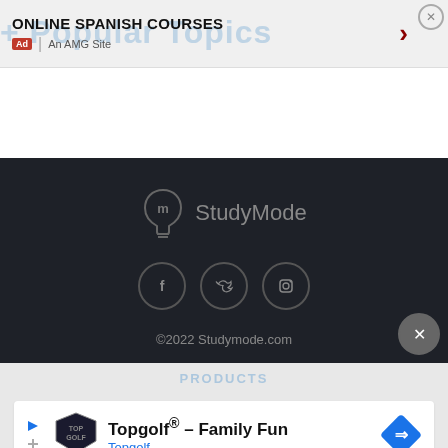[Figure (screenshot): Top advertisement banner for Online Spanish Courses with Ad badge and AMG Site label, dark red chevron arrow, and close button]
[Figure (logo): StudyMode logo: lightbulb icon with 'm' inside and StudyMode text in gray on dark background]
[Figure (infographic): Social media icons: Facebook, Twitter, Instagram in circular bordered buttons on dark background]
©2022 Studymode.com
[Figure (screenshot): Bottom advertisement for Topgolf - Family Fun with Topgolf logo, blue navigation diamond icon, and ad controls]